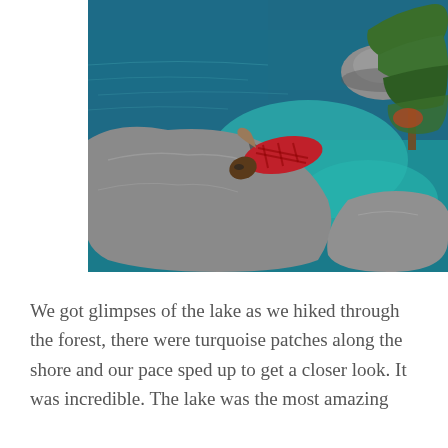[Figure (photo): Aerial/overhead view of a person in a red plaid shirt lying on large granite rocks at the edge of a turquoise-blue lake. Pine trees visible on the right, more rocks scattered in and near the water.]
We got glimpses of the lake as we hiked through the forest, there were turquoise patches along the shore and our pace sped up to get a closer look. It was incredible. The lake was the most amazing